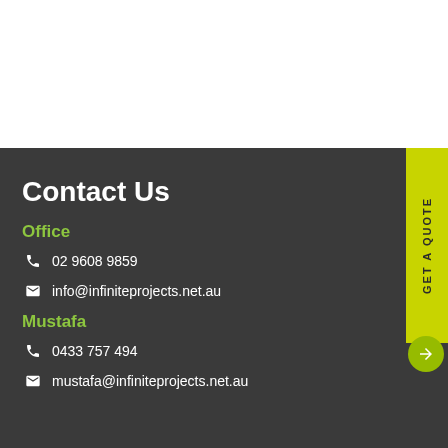Contact Us
Office
02 9608 9859
info@infiniteprojects.net.au
Mustafa
0433 757 494
mustafa@infiniteprojects.net.au